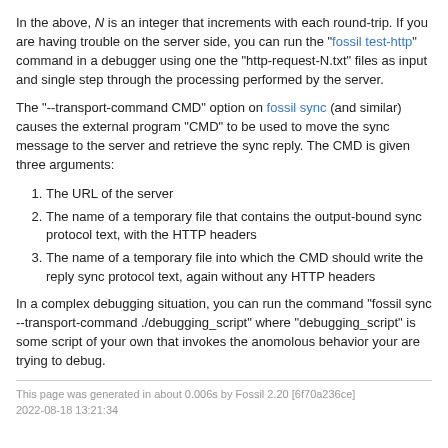In the above, N is an integer that increments with each round-trip. If you are having trouble on the server side, you can run the "fossil test-http" command in a debugger using one the "http-request-N.txt" files as input and single step through the processing performed by the server.
The "--transport-command CMD" option on fossil sync (and similar) causes the external program "CMD" to be used to move the sync message to the server and retrieve the sync reply. The CMD is given three arguments:
The URL of the server
The name of a temporary file that contains the output-bound sync protocol text, with the HTTP headers
The name of a temporary file into which the CMD should write the reply sync protocol text, again without any HTTP headers
In a complex debugging situation, you can run the command "fossil sync --transport-command ./debugging_script" where "debugging_script" is some script of your own that invokes the anomolous behavior your are trying to debug.
This page was generated in about 0.006s by Fossil 2.20 [6f70a236ce] 2022-08-18 13:21:34